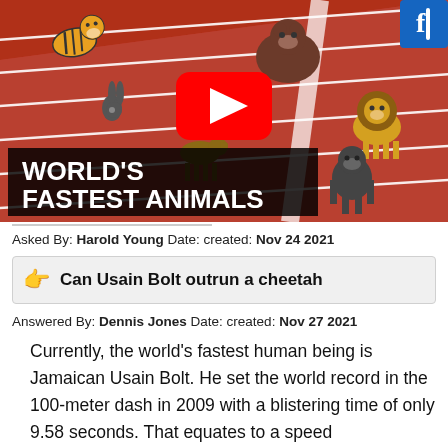[Figure (screenshot): YouTube video thumbnail showing animated animals racing on a track with the text 'WORLD'S FASTEST ANIMALS' overlaid. Animals include tiger, rabbit, bear, horse, lion, gorilla, and others on a red athletics track. A YouTube play button is visible in the center.]
Asked By: Harold Young Date: created: Nov 24 2021
👉  Can Usain Bolt outrun a cheetah
Answered By: Dennis Jones Date: created: Nov 27 2021
Currently, the world's fastest human being is Jamaican Usain Bolt. He set the world record in the 100-meter dash in 2009 with a blistering time of only 9.58 seconds. That equates to a speed